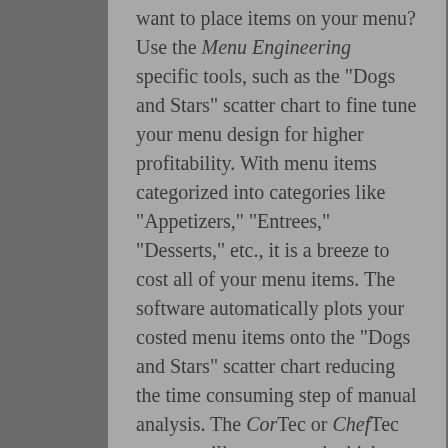want to place items on your menu? Use the Menu Engineering specific tools, such as the "Dogs and Stars" scatter chart to fine tune your menu design for higher profitability. With menu items categorized into categories like "Appetizers," "Entrees," "Desserts," etc., it is a breeze to cost all of your menu items. The software automatically plots your costed menu items onto the "Dogs and Stars" scatter chart reducing the time consuming step of manual analysis. The CorTec or ChefTec system will recommend which items to drop from your menu and